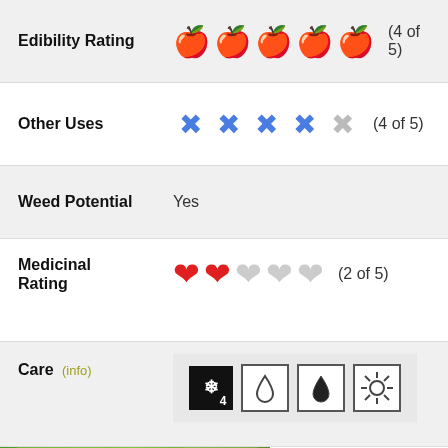| Attribute | Rating | Score |
| --- | --- | --- |
| Edibility Rating | 4 green apples + 1 grey apple | (4 of 5) |
| Other Uses | 4 blue cross icons + 1 grey cross icon | (4 of 5) |
| Weed Potential | Yes |  |
| Medicinal Rating | 2 red hearts + 3 grey hearts | (2 of 5) |
| Care | Frost zone 4, low water, moderate water, full sun |  |
[Figure (photo): Close-up photo of green plant leaves, likely a food or medicinal plant]
147k Shares